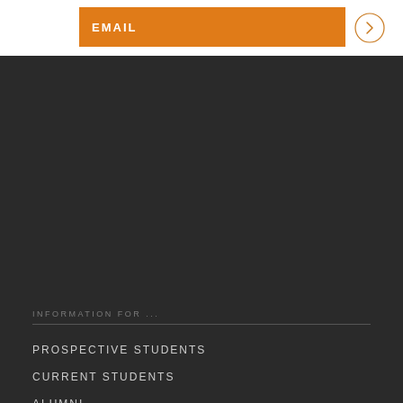EMAIL
INFORMATION FOR ...
PROSPECTIVE STUDENTS
CURRENT STUDENTS
ALUMNI
ARTISTS
MEDIA / PRESS
VISITORS
ACCESSIBILITY